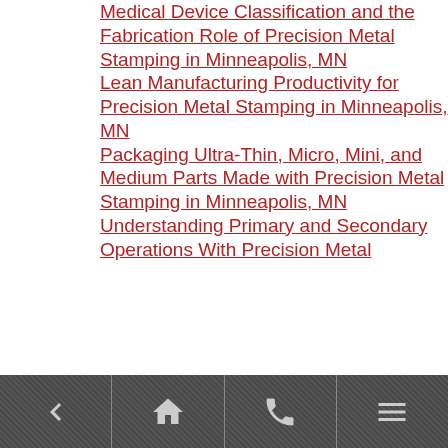Medical Device Classification and the Fabrication Role of Precision Metal Stamping in Minneapolis, MN
Lean Manufacturing Productivity for Precision Metal Stamping in Minneapolis, MN
Packaging Ultra-Thin, Micro, Mini, and Medium Parts Made with Precision Metal Stamping in Minneapolis, MN
Understanding Primary and Secondary Operations With Precision Metal...